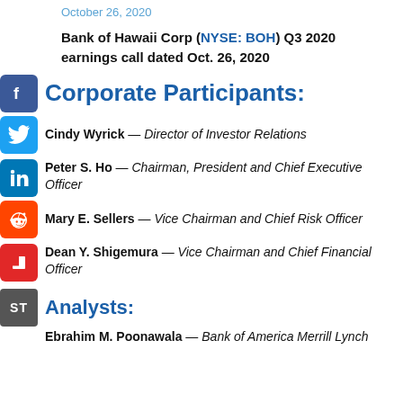October 26, 2020
Bank of Hawaii Corp (NYSE: BOH) Q3 2020 earnings call dated Oct. 26, 2020
Corporate Participants:
Cindy Wyrick — Director of Investor Relations
Peter S. Ho — Chairman, President and Chief Executive Officer
Mary E. Sellers — Vice Chairman and Chief Risk Officer
Dean Y. Shigemura — Vice Chairman and Chief Financial Officer
Analysts:
Ebrahim M. Poonawala — Bank of America Merrill Lynch